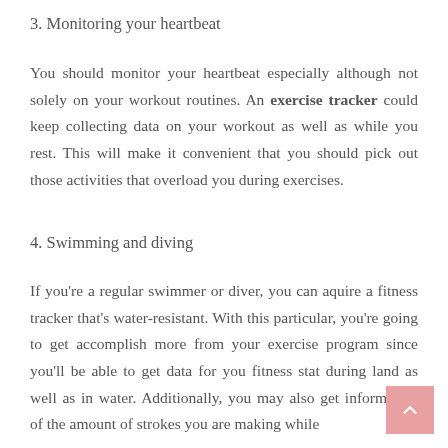3. Monitoring your heartbeat
You should monitor your heartbeat especially although not solely on your workout routines. An exercise tracker could keep collecting data on your workout as well as while you rest. This will make it convenient that you should pick out those activities that overload you during exercises.
4. Swimming and diving
If you're a regular swimmer or diver, you can aquire a fitness tracker that's water-resistant. With this particular, you're going to get accomplish more from your exercise program since you'll be able to get data for you fitness stat during land as well as in water. Additionally, you may also get information of the amount of strokes you are making while